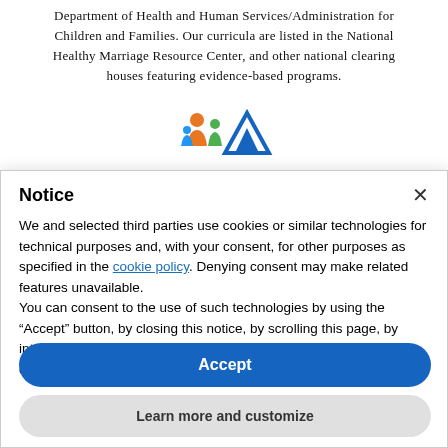Department of Health and Human Services/Administration for Children and Families. Our curricula are listed in the National Healthy Marriage Resource Center, and other national clearing houses featuring evidence-based programs.
[Figure (logo): Two small colorful icons/logos side by side — an orange/green family figure icon and a blue tent/mountain icon]
Notice
We and selected third parties use cookies or similar technologies for technical purposes and, with your consent, for other purposes as specified in the cookie policy. Denying consent may make related features unavailable.
You can consent to the use of such technologies by using the "Accept" button, by closing this notice, by scrolling this page, by interacting with any link or button outside of this notice or by continuing to browse otherwise.